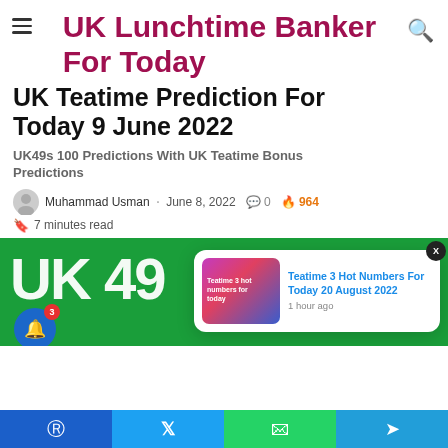UK Lunchtime Banker For Today
UK Teatime Prediction For Today 9 June 2022
UK49s 100 Predictions With UK Teatime Bonus Predictions
Muhammad Usman · June 8, 2022  0  964
7 minutes read
[Figure (screenshot): Green UK49s banner with partial 'UK 49' text visible on left side]
Teatime 3 Hot Numbers For Today 20 August 2022
1 hour ago